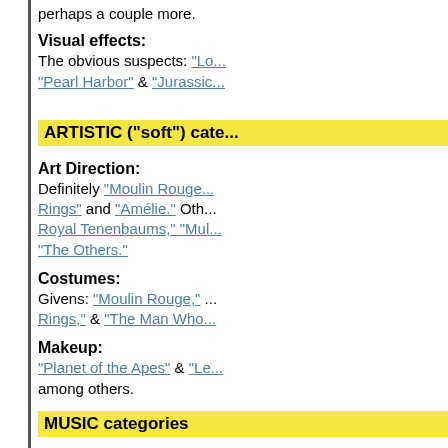perhaps a couple more.
Visual effects:
The obvious suspects: "Lo... "Pearl Harbor" & "Jurassic...
ARTISTIC ("soft") cate...
Art Direction:
Definitely "Moulin Rouge... Rings" and "Amélie." Oth... Royal Tenenbaums," "Mul... "The Others."
Costumes:
Givens: "Moulin Rouge," ... Rings," & "The Man Who...
Makeup:
"Planet of the Apes" & "Le... among others.
MUSIC categories